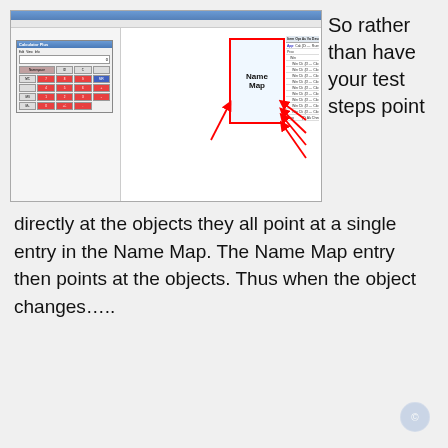[Figure (screenshot): Screenshot of a test automation tool showing a Project Explorer panel with a Calculator Plus window and a Workspace panel with a Name Map box highlighted in red, with red arrows pointing from test steps to the Name Map entry. Multiple rows of operations listed on the right side.]
So rather than have your test steps point
directly at the objects they all point at a single entry in the Name Map. The Name Map entry then points at the objects. Thus when the object changes…..